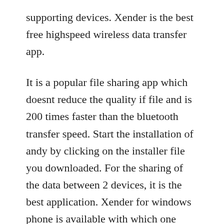supporting devices. Xender is the best free highspeed wireless data transfer app.
It is a popular file sharing app which doesnt reduce the quality if file and is 200 times faster than the bluetooth transfer speed. Start the installation of andy by clicking on the installer file you downloaded. For the sharing of the data between 2 devices, it is the best application. Xender for windows phone is available with which one could share photos, videos, files and other media within seconds. Xender allows transferring files between